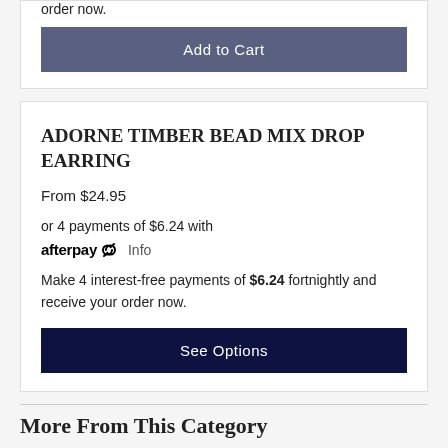order now.
Add to Cart
ADORNE TIMBER BEAD MIX DROP EARRING
From $24.95
or 4 payments of $6.24 with afterpay Info
Make 4 interest-free payments of $6.24 fortnightly and receive your order now.
See Options
More From This Category